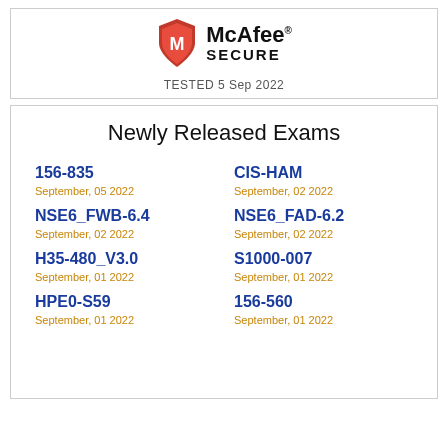[Figure (logo): McAfee SECURE logo with shield icon containing M, text McAfee SECURE, tested date below]
TESTED 5 Sep 2022
Newly Released Exams
156-835
September, 05 2022
CIS-HAM
September, 02 2022
NSE6_FWB-6.4
September, 02 2022
NSE6_FAD-6.2
September, 02 2022
H35-480_V3.0
September, 01 2022
S1000-007
September, 01 2022
HPE0-S59
September, 01 2022
156-560
September, 01 2022